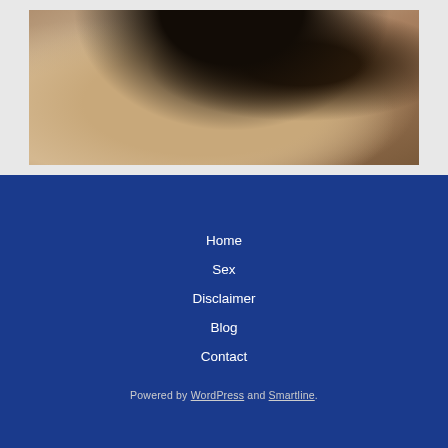[Figure (photo): A woman in a gray top, with dark hair, viewed from a close angle from above.]
Home
Sex
Disclaimer
Blog
Contact
Powered by WordPress and Smartline.